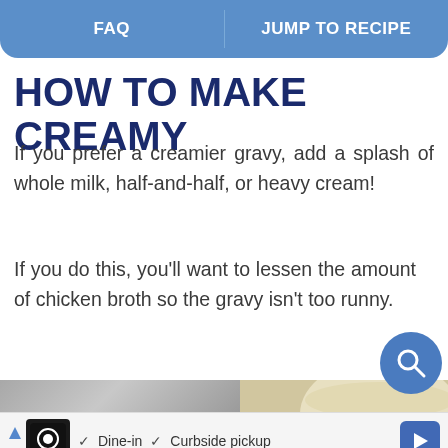FAQ | JUMP TO RECIPE
HOW TO MAKE CREAMY
If you prefer a creamier gravy, add a splash of whole milk, half-and-half, or heavy cream!
If you do this, you’ll want to lessen the amount of chicken broth so the gravy isn’t too runny.
[Figure (photo): Photo of creamy gravy in a bowl, two-panel image showing gray background on left and cream-colored gravy in white bowl on right]
Ad: Dine-in ✓ Curbside pickup